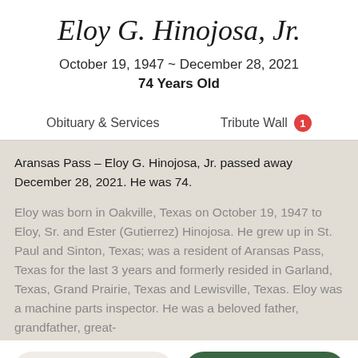Eloy G. Hinojosa, Jr.
October 19, 1947 ~ December 28, 2021
74 Years Old
Obituary & Services
Tribute Wall 1
Aransas Pass – Eloy G. Hinojosa, Jr. passed away December 28, 2021. He was 74.

Eloy was born in Oakville, Texas on October 19, 1947 to Eloy, Sr. and Ester (Gutierrez) Hinojosa. He grew up in St. Paul and Sinton, Texas; was a resident of Aransas Pass, Texas for the last 3 years and formerly resided in Garland, Texas, Grand Prairie, Texas and Lewisville, Texas. Eloy was a machine parts inspector. He was a beloved father, grandfather, great-
Share a memory
Plant a Tree